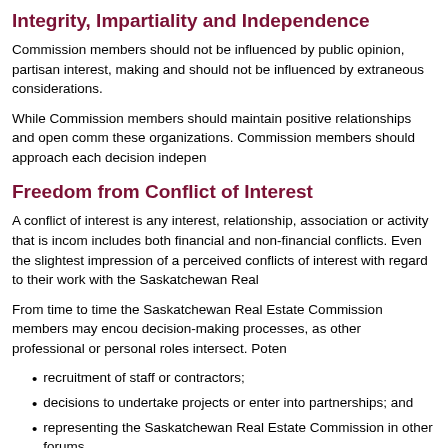Integrity, Impartiality and Independence
Commission members should not be influenced by public opinion, partisan interest, making and should not be influenced by extraneous considerations.
While Commission members should maintain positive relationships and open comm these organizations. Commission members should approach each decision indepen
Freedom from Conflict of Interest
A conflict of interest is any interest, relationship, association or activity that is incom includes both financial and non-financial conflicts. Even the slightest impression of a perceived conflicts of interest with regard to their work with the Saskatchewan Real
From time to time the Saskatchewan Real Estate Commission members may encou decision-making processes, as other professional or personal roles intersect. Poten
recruitment of staff or contractors;
decisions to undertake projects or enter into partnerships; and
representing the Saskatchewan Real Estate Commission in other forums.
In general, a conflict of interest can be said to arise if:
It is likely that the performance of a person's duties as a Saskatchewan Rea (private, personal or professional), or that a reasonable person would belie If a person's participation in the Saskatchewan Real Estate Commission